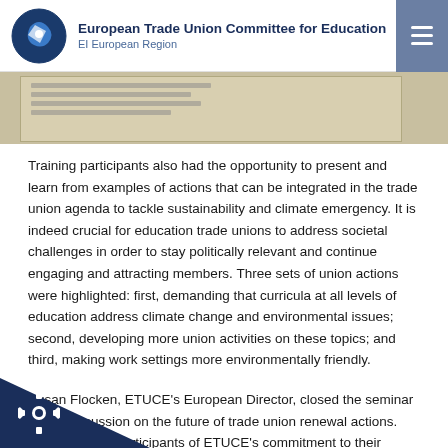European Trade Union Committee for Education
EI European Region
[Figure (photo): Partial view of a whiteboard or flipchart with handwritten notes]
Training participants also had the opportunity to present and learn from examples of actions that can be integrated in the trade union agenda to tackle sustainability and climate emergency. It is indeed crucial for education trade unions to address societal challenges in order to stay politically relevant and continue engaging and attracting members. Three sets of union actions were highlighted: first, demanding that curricula at all levels of education address climate change and environmental issues; second, developing more union activities on these topics; and third, making work settings more environmentally friendly.
Susan Flocken, ETUCE's European Director, closed the seminar with a discussion on the future of trade union renewal actions. She reminded participants of ETUCE's commitment to their member organisations moving forward and ing their bargaining power despite current